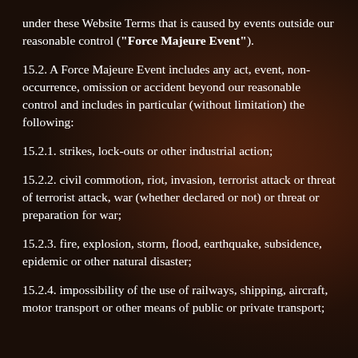under these Website Terms that is caused by events outside our reasonable control ("Force Majeure Event").
15.2. A Force Majeure Event includes any act, event, non-occurrence, omission or accident beyond our reasonable control and includes in particular (without limitation) the following:
15.2.1. strikes, lock-outs or other industrial action;
15.2.2. civil commotion, riot, invasion, terrorist attack or threat of terrorist attack, war (whether declared or not) or threat or preparation for war;
15.2.3. fire, explosion, storm, flood, earthquake, subsidence, epidemic or other natural disaster;
15.2.4. impossibility of the use of railways, shipping, aircraft, motor transport or other means of public or private transport;